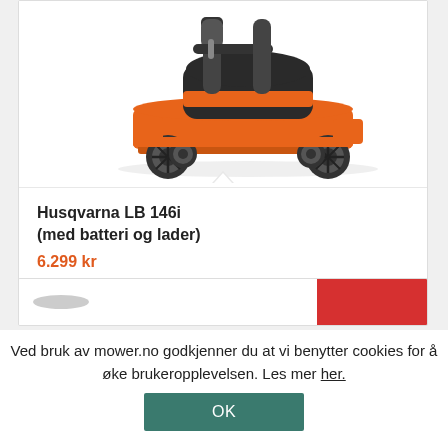[Figure (photo): Orange and black Husqvarna LB 146i battery-powered push lawn mower on white background, viewed from the front-right angle, showing four wheels, orange deck, and black handle/motor housing.]
Husqvarna LB 146i (med batteri og lader)
6.299 kr
Ved bruk av mower.no godkjenner du at vi benytter cookies for å øke brukeropplevelsen. Les mer her.